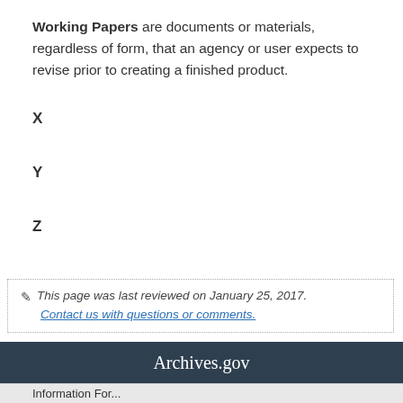Working Papers are documents or materials, regardless of form, that an agency or user expects to revise prior to creating a finished product.
X
Y
Z
This page was last reviewed on January 25, 2017. Contact us with questions or comments.
Archives.gov
Information For...